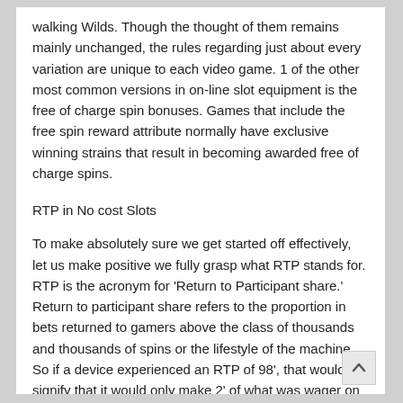walking Wilds. Though the thought of them remains mainly unchanged, the rules regarding just about every variation are unique to each video game. 1 of the other most common versions in on-line slot equipment is the free of charge spin bonuses. Games that include the free spin reward attribute normally have exclusive winning strains that result in becoming awarded free of charge spins.
RTP in No cost Slots
To make absolutely sure we get started off effectively, let us make positive we fully grasp what RTP stands for. RTP is the acronym for 'Return to Participant share.' Return to participant share refers to the proportion in bets returned to gamers above the class of thousands and thousands of spins or the lifestyle of the machine. So if a device experienced an RTP of 98', that would signify that it would only make 2' of what was wager on the program of its life time. Ninety-8 p.c of what was guess would be returned to players, because an RTP of 98%. If you want to see this more t...